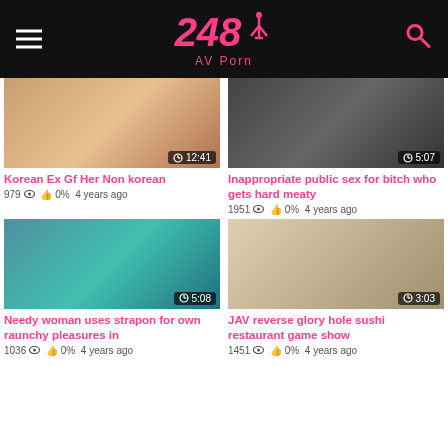248 AV Porn
[Figure (screenshot): Video thumbnail for Korean Ex Gf Her Non korean, duration 12:41]
Korean Ex Gf Her Non korean
979 👁 0% 4 years ago
[Figure (screenshot): Video thumbnail for Inappropriate public sex for bitch who gets hard meaty, duration 5:07]
Inappropriate public sex for bitch who gets hard meaty
1951 👁 0% 4 years ago
[Figure (screenshot): Video thumbnail for Needy woman uses strapon for own raunchy pleasures in, duration 5:08]
Needy woman uses strapon for own raunchy pleasures in
1036 👁 0% 4 years ago
[Figure (screenshot): Video thumbnail for JAV reverse glory hole sushi restaurant game show, duration 3:03]
JAV reverse glory hole sushi restaurant game show
1451 👁 0% 4 years ago